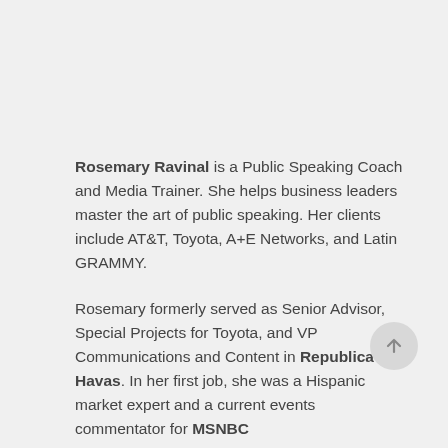Rosemary Ravinal is a Public Speaking Coach and Media Trainer. She helps business leaders master the art of public speaking. Her clients include AT&T, Toyota, A+E Networks, and Latin GRAMMY.
Rosemary formerly served as Senior Advisor, Special Projects for Toyota, and VP Communications and Content in Republica Havas. In her first job, she was a Hispanic market expert and a current events commentator for MSNBC